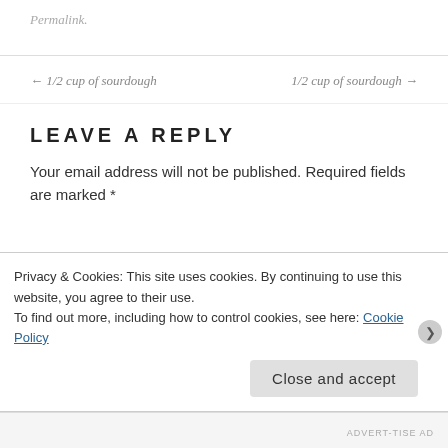Permalink.
← 1/2 cup of sourdough
1/2 cup of sourdough →
LEAVE A REPLY
Your email address will not be published. Required fields are marked *
Privacy & Cookies: This site uses cookies. By continuing to use this website, you agree to their use.
To find out more, including how to control cookies, see here: Cookie Policy
Close and accept